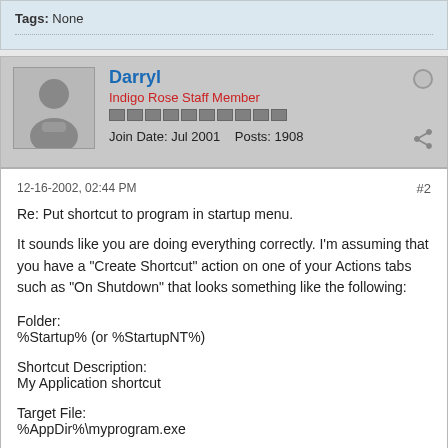Tags: None
Darryl
Indigo Rose Staff Member
Join Date: Jul 2001   Posts: 1908
12-16-2002, 02:44 PM
#2
Re: Put shortcut to program in startup menu.
It sounds like you are doing everything correctly. I'm assuming that you have a "Create Shortcut" action on one of your Actions tabs such as "On Shutdown" that looks something like the following:
Folder:
%Startup% (or %StartupNT%)
Shortcut Description:
My Application shortcut
Target File:
%AppDir%\myprogram.exe
Is this exactly what you have?